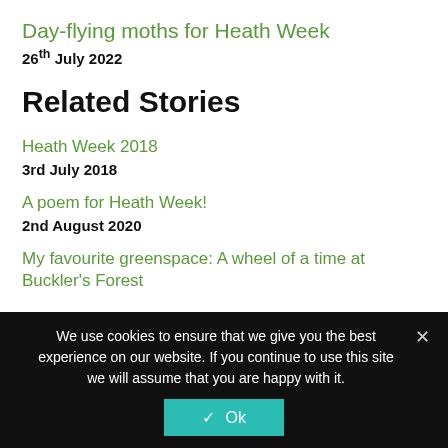Day-flying moths for Heath Week
26th July 2022
Related Stories
Heath Week 2018
3rd July 2018
A poem for Heath Week!
2nd August 2020
My favourite greenspace: A wheel of a time at Buckler's Forest
We use cookies to ensure that we give you the best experience on our website. If you continue to use this site we will assume that you are happy with it.